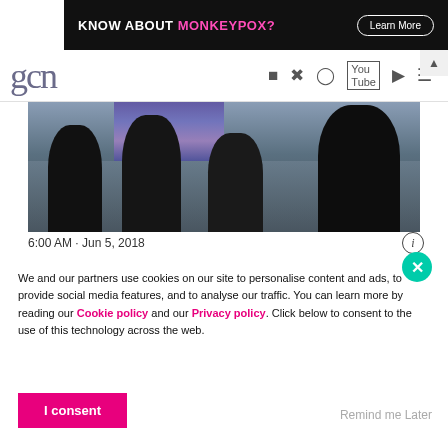[Figure (screenshot): Advertisement banner: 'KNOW ABOUT MONKEYPOX?' with a Learn More button on dark background]
gcn — website navigation header with social media icons (Facebook, Twitter, Instagram, YouTube) and search/menu icons
[Figure (photo): Photo of protesters in front of building steps, raising a bisexual pride flag and drinking from bottles]
6:00 AM · Jun 5, 2018
We and our partners use cookies on our site to personalise content and ads, to provide social media features, and to analyse our traffic. You can learn more by reading our Cookie policy and our Privacy policy. Click below to consent to the use of this technology across the web.
I consent
Remind me Later